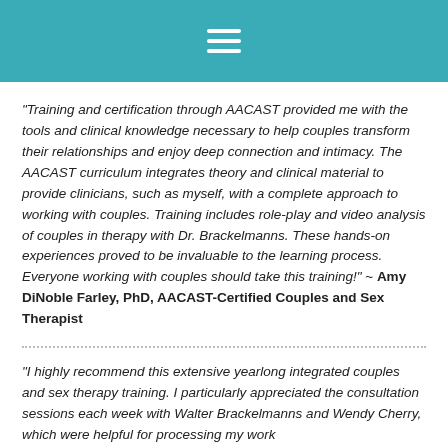[Figure (other): Teal header bar with hamburger menu icon (three horizontal white lines)]
"Training and certification through AACAST provided me with the tools and clinical knowledge necessary to help couples transform their relationships and enjoy deep connection and intimacy. The AACAST curriculum integrates theory and clinical material to provide clinicians, such as myself, with a complete approach to working with couples. Training includes role-play and video analysis of couples in therapy with Dr. Brackelmanns. These hands-on experiences proved to be invaluable to the learning process. Everyone working with couples should take this training!" ~ Amy DiNoble Farley, PhD, AACAST-Certified Couples and Sex Therapist
"I highly recommend this extensive yearlong integrated couples and sex therapy training. I particularly appreciated the consultation sessions each week with Walter Brackelmanns and Wendy Cherry, which were helpful for processing my work